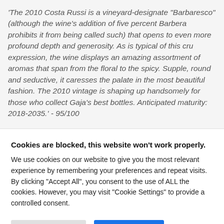'The 2010 Costa Russi is a vineyard-designate "Barbaresco" (although the wine's addition of five percent Barbera prohibits it from being called such) that opens to even more profound depth and generosity. As is typical of this cru expression, the wine displays an amazing assortment of aromas that span from the floral to the spicy. Supple, round and seductive, it caresses the palate in the most beautiful fashion. The 2010 vintage is shaping up handsomely for those who collect Gaja's best bottles. Anticipated maturity: 2018-2035.' - 95/100
Cookies are blocked, this website won't work properly. We use cookies on our website to give you the most relevant experience by remembering your preferences and repeat visits. By clicking "Accept All", you consent to the use of ALL the cookies. However, you may visit "Cookie Settings" to provide a controlled consent.